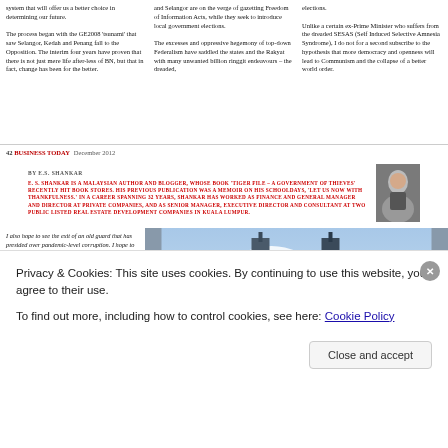system that will offer us a better choice in determining our future.

The process began with the GE2008 'tsunami' that saw Selangor, Kedah and Penang fall to the Opposition. The interim four years have proven that there is not just mere life after-less of BN, but that in fact, change has been for the better.
and Selangor are on the verge of gazetting Freedom of Information Acts, while they seek to introduce local government elections.

The excesses and oppressive hegemony of top-down Federalism have saddled the states and the Rakyat with many unwanted billion ringgit endeavours – the dreaded,
elections.

Unlike a certain ex-Prime Minister who suffers from the dreaded SESAS (Self Induced Selective Amnesia Syndrome), I do not for a second subscribe to the hypothesis that more democracy and openness will lead to Communism and the collapse of a better world order.
42  BUSINESS TODAY  December 2012
BY E.S. SHANKAR

E. S. SHANKAR IS A MALAYSIAN AUTHOR AND BLOGGER, WHOSE BOOK 'TIGER FILE – A GOVERNMENT OF THIEVES' RECENTLY HIT BOOK STORES. HIS PREVIOUS PUBLICATION WAS A MEMOIR ON HIS SCHOOLDAYS, 'LET US NOW WITH THANKFULNESS.' IN A CAREER SPANNING 32 YEARS, SHANKAR HAS WORKED AS FINANCE AND GENERAL MANAGER AND DIRECTOR AT PRIVATE COMPANIES, AND AS SENIOR MANAGER, EXECUTIVE DIRECTOR AND CONSULTANT AT TWO PUBLIC LISTED REAL ESTATE DEVELOPMENT COMPANIES IN KUALA LUMPUR.
I also hope to see the exit of an old guard that has presided over pandemic-level corruption. I hope to see these thieves, plunderers and looters made publicly accountable for their malfeasance, and be forced to make restitution for the hundreds of billions of ringgit that have systematically (and illegally) leaked out from our shores over the last 50 years. So for 2013, be liquid and don't park too much of your savings in the stock market.
THE TOP FIVE THINGS ON MY
[Figure (photo): Kuala Lumpur skyline showing the Petronas Twin Towers and KL Tower against a cloudy sky]
Privacy & Cookies: This site uses cookies. By continuing to use this website, you agree to their use.
To find out more, including how to control cookies, see here: Cookie Policy
Close and accept